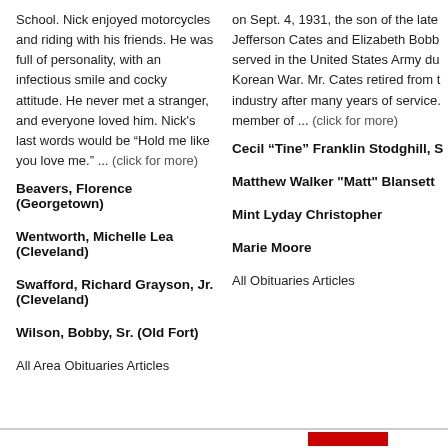School. Nick enjoyed motorcycles and riding with his friends. He was full of personality, with an infectious smile and cocky attitude. He never met a stranger, and everyone loved him. Nick's last words would be “Hold me like you love me.” ... (click for more)
on Sept. 4, 1931, the son of the late Jefferson Cates and Elizabeth Bobb served in the United States Army du Korean War. Mr. Cates retired from t industry after many years of service. member of ... (click for more)
Beavers, Florence (Georgetown)
Cecil “Tine” Franklin Stodghill, S
Wentworth, Michelle Lea (Cleveland)
Matthew Walker "Matt" Blansett
Swafford, Richard Grayson, Jr. (Cleveland)
Mint Lyday Christopher
Wilson, Bobby, Sr. (Old Fort)
Marie Moore
All Area Obituaries Articles
All Obituaries Articles